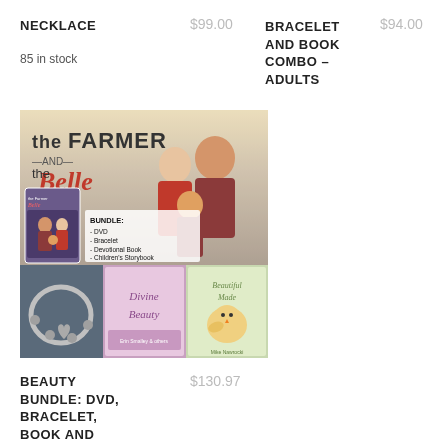NECKLACE
$99.00
85 in stock
BRACELET AND BOOK COMBO – ADULTS
$94.00
[Figure (photo): Product image for 'The Farmer and the Belle' beauty bundle showing DVD cover with family cast photo, bracelet, Divine Beauty book, and Beautiful Made children's storybook. Text overlay: BUNDLE: - DVD - Bracelet - Devotional Book - Children's Storybook]
BEAUTY BUNDLE: DVD, BRACELET, BOOK AND
$130.97